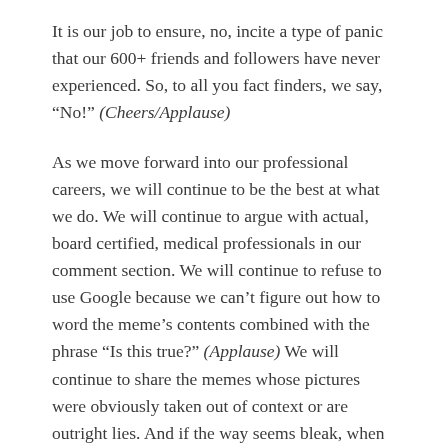It is our job to ensure, no, incite a type of panic that our 600+ friends and followers have never experienced. So, to all you fact finders, we say, “No!” (Cheers/Applause)
As we move forward into our professional careers, we will continue to be the best at what we do. We will continue to argue with actual, board certified, medical professionals in our comment section. We will continue to refuse to use Google because we can’t figure out how to word the meme’s contents combined with the phrase “Is this true?” (Applause) We will continue to share the memes whose pictures were obviously taken out of context or are outright lies. And if the way seems bleak, when met with absolute, indisputable facts—we will continue to purport that websites like Snopes has an agenda that they also